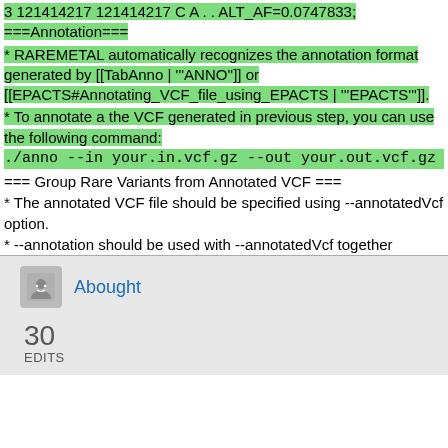3 121414217 121414217 C A . . ALT_AF=0.0747833;
===Annotation===
* RAREMETAL automatically recognizes the annotation format generated by [[TabAnno | '''ANNO'']] or [[EPACTS#Annotating_VCF_file_using_EPACTS | '''EPACTS''']].
* To annotate a the VCF generated in previous step, you can use the following command:
./anno --in your.in.vcf.gz --out your.out.vcf.gz
=== Group Rare Variants from Annotated VCF ===
* The annotated VCF file should be specified using --annotatedVcf option.
* --annotation should be used with --annotatedVcf together
Abought
30
EDITS